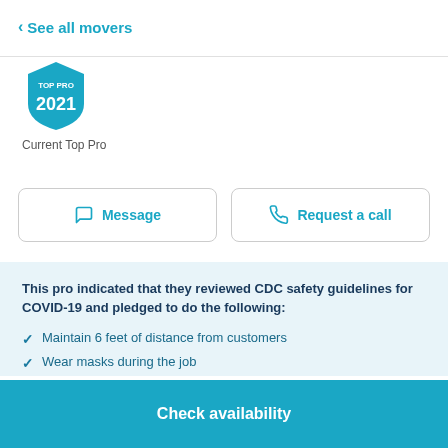< See all movers
[Figure (illustration): Top Pro 2021 shield badge in blue and white]
Current Top Pro
Message
Request a call
This pro indicated that they reviewed CDC safety guidelines for COVID-19 and pledged to do the following:
Maintain 6 feet of distance from customers
Wear masks during the job
Wear gloves during the job
Check availability